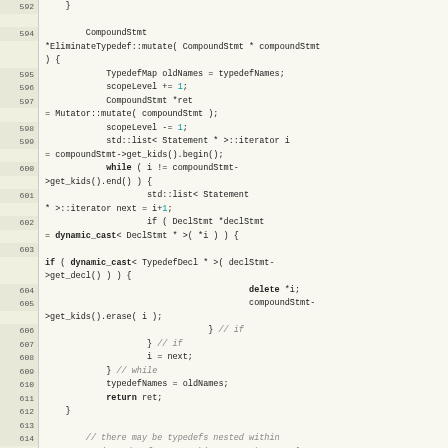[Figure (screenshot): Source code listing showing C++ code for EliminateTypedef::mutate method, lines 592-614, with line numbers on left in beige column and code on right in light yellow background. Code includes keywords, numeric literals highlighted in cyan, and italic comments.]